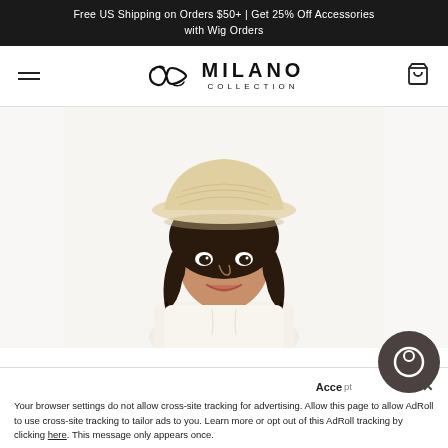Free US Shipping on Orders $50+ | Get 25% Off Accessories with Wig Orders
[Figure (logo): Milano Collection logo with decorative knot icon, text MILANO COLLECTION]
[Figure (photo): Woman model wearing a cream/beige fedora-style straw hat and white top, smiling, with dark wavy hair]
Accept [AdRoll icon] ×
Your browser settings do not allow cross-site tracking for advertising. Allow this page to allow AdRoll to use cross-site tracking to tailor ads to you. Learn more or opt out of this AdRoll tracking by clicking here. This message only appears once.